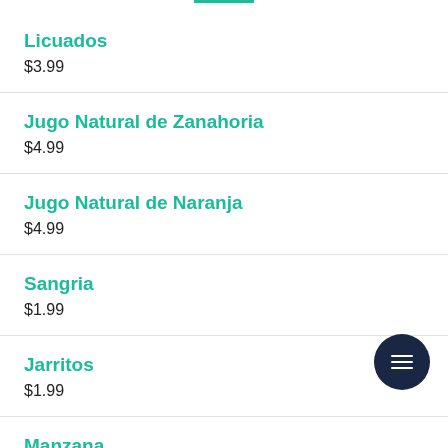Licuados
$3.99
Jugo Natural de Zanahoria
$4.99
Jugo Natural de Naranja
$4.99
Sangria
$1.99
Jarritos
$1.99
Manzana